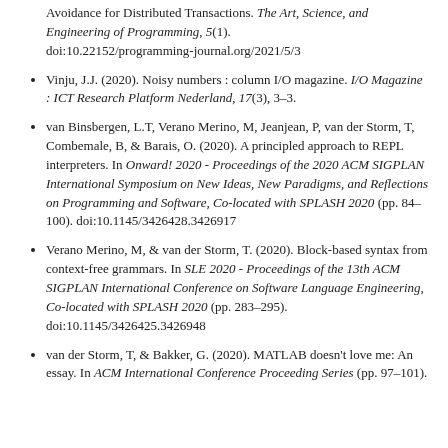Avoidance for Distributed Transactions. The Art, Science, and Engineering of Programming, 5(1). doi:10.22152/programming-journal.org/2021/5/3
Vinju, J.J. (2020). Noisy numbers : column I/O magazine. I/O Magazine : ICT Research Platform Nederland, 17(3), 3–3.
van Binsbergen, L.T, Verano Merino, M, Jeanjean, P, van der Storm, T, Combemale, B, & Barais, O. (2020). A principled approach to REPL interpreters. In Onward! 2020 - Proceedings of the 2020 ACM SIGPLAN International Symposium on New Ideas, New Paradigms, and Reflections on Programming and Software, Co-located with SPLASH 2020 (pp. 84–100). doi:10.1145/3426428.3426917
Verano Merino, M, & van der Storm, T. (2020). Block-based syntax from context-free grammars. In SLE 2020 - Proceedings of the 13th ACM SIGPLAN International Conference on Software Language Engineering, Co-located with SPLASH 2020 (pp. 283–295). doi:10.1145/3426425.3426948
van der Storm, T, & Bakker, G. (2020). MATLAB doesn't love me: An essay. In ACM International Conference Proceeding Series (pp. 97–101).